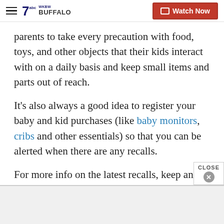WKBW Buffalo — Watch Now
parents to take every precaution with food, toys, and other objects that their kids interact with on a daily basis and keep small items and parts out of reach.
It's also always a good idea to register your baby and kid purchases (like baby monitors, cribs and other essentials) so that you can be alerted when there are any recalls.
For more info on the latest recalls, keep an eye on the U.S. Consumer Product Safety Commission announcement page.